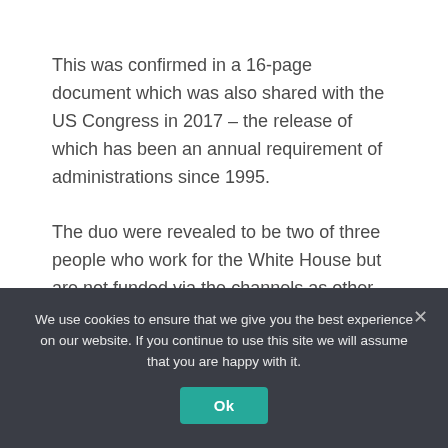This was confirmed in a 16-page document which was also shared with the US Congress in 2017 – the release of which has been an annual requirement of administrations since 1995.
The duo were revealed to be two of three people who work for the White House but are not funded via the channels as other staff members.
Are Ivanka and Melania Trump friends? A close-up look at the pair's friendship.
We use cookies to ensure that we give you the best experience on our website. If you continue to use this site we will assume that you are happy with it.